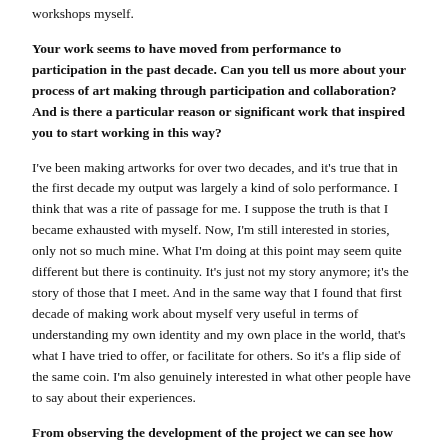workshops myself.
Your work seems to have moved from performance to participation in the past decade. Can you tell us more about your process of art making through participation and collaboration? And is there a particular reason or significant work that inspired you to start working in this way?
I've been making artworks for over two decades, and it's true that in the first decade my output was largely a kind of solo performance. I think that was a rite of passage for me. I suppose the truth is that I became exhausted with myself. Now, I'm still interested in stories, only not so much mine. What I'm doing at this point may seem quite different but there is continuity. It's just not my story anymore; it's the story of those that I meet. And in the same way that I found that first decade of making work about myself very useful in terms of understanding my own identity and my own place in the world, that's what I have tried to offer, or facilitate for others. So it's a flip side of the same coin. I'm also genuinely interested in what other people have to say about their experiences.
From observing the development of the project we can see how communication and coaching skills, and your own generous